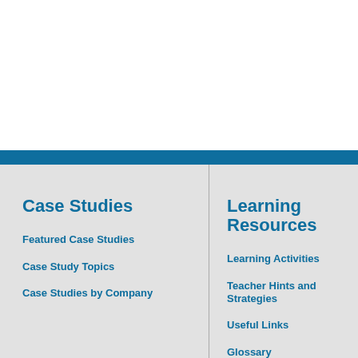Case Studies
Featured Case Studies
Case Study Topics
Case Studies by Company
Learning Resources
Learning Activities
Teacher Hints and Strategies
Useful Links
Glossary